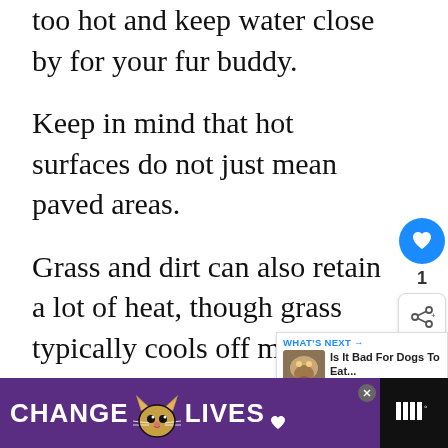too hot and keep water close by for your fur buddy.
Keep in mind that hot surfaces do not just mean paved areas.
Grass and dirt can also retain a lot of heat, though grass typically cools off more quickly.
Still, it’s important to note that any surface has the potential of burning your puppy’s paws.
3. They Can Suffer From
[Figure (other): UI heart/like button (blue circle with heart icon) and share button with count label '1']
[Figure (other): What's Next panel showing 'WHAT'S NEXT → Is It Bad For Dogs To Eat...' with a small thumbnail image of a dog eating grass]
[Figure (other): Ad banner with purple background, cat illustration, text 'CHANGE LIVES', close button, and weather/news logo on right]